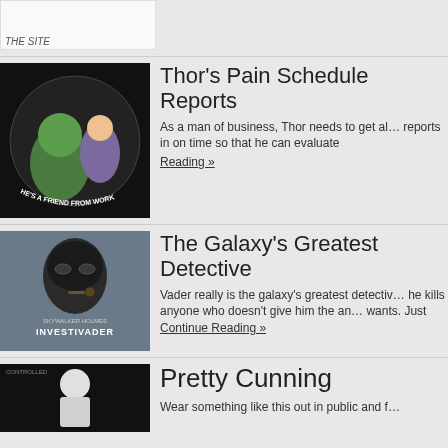[Figure (illustration): Partial top image stub (cropped), white background with partial text visible at top]
[Figure (illustration): Circular illustration on black background showing Thor and Hulk in an office setting, labeled 'He's a Friend From Work']
Thor's Pain Schedule Reports
As a man of business, Thor needs to get all reports in on time so that he can evaluate
Continue Reading »
[Figure (illustration): Cartoon Darth Vader in detective style on grey background, labeled 'SKYWALKER HOLMES INVESTIVADER']
The Galaxy's Greatest Detective
Vader really is the galaxy's greatest detective he kills anyone who doesn't give him the answers he wants. Just
Continue Reading »
[Figure (illustration): Partial bottom image showing dark background with white figure, partially cropped]
Pretty Cunning
Wear something like this out in public and f